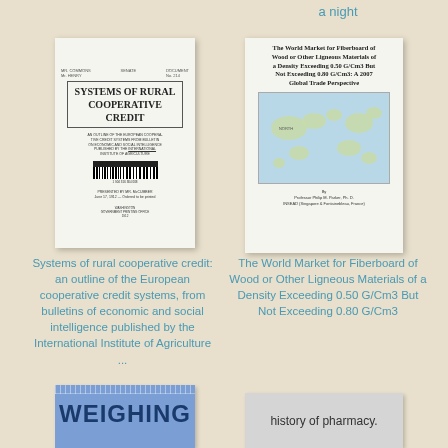a night
[Figure (photo): Book cover thumbnail: Systems of Rural Cooperative Credit, old document style with barcode]
[Figure (photo): Book cover thumbnail: The World Market for Fiberboard of Wood or Other Ligneous Materials, with world map]
Systems of rural cooperative credit: an outline of the European cooperative credit systems, from bulletins of economic and social intelligence published by the International Institute of Agriculture ...
The World Market for Fiberboard of Wood or Other Ligneous Materials of a Density Exceeding 0.50 G/Cm3 But Not Exceeding 0.80 G/Cm3
[Figure (photo): Book cover thumbnail bottom left: WEIGHING - blue cover with ruler markings at top]
[Figure (photo): Book cover thumbnail bottom right: history of pharmacy - gray cover]